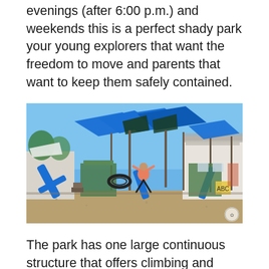evenings (after 6:00 p.m.) and weekends this is a perfect shady park your young explorers that want the freedom to move and parents that want to keep them safely contained.
[Figure (photo): A child with arms raised jumping in front of a large playground structure with blue slides, climbing equipment, and blue shade canopies overhead. Buildings and trees visible in the background.]
The park has one large continuous structure that offers climbing and slides of various heights for all abilities. It is still a preschool playground so even the tall spots are not that tall and are well protected. The